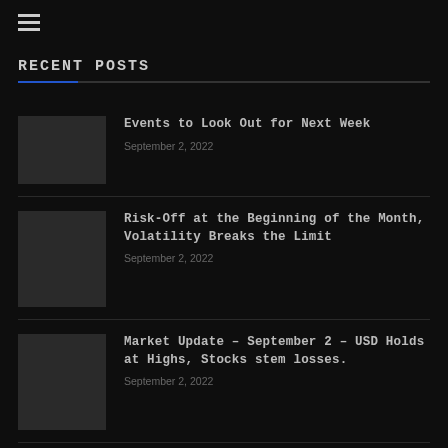≡
RECENT POSTS
Events to Look Out for Next Week
September 2, 2022
Risk-Off at the Beginning of the Month, Volatility Breaks the Limit
September 2, 2022
Market Update – September 2 – USD Holds at Highs, Stocks stem losses.
September 2, 2022